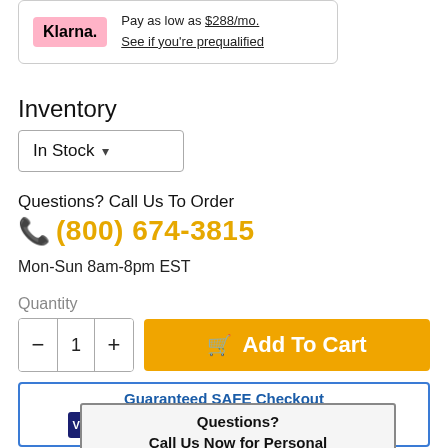Klarna. Pay as low as $288/mo. See if you're prequalified
Inventory
In Stock ▾
Questions? Call Us To Order
(800) 674-3815
Mon-Sun 8am-8pm EST
Quantity
— 1 + Add To Cart
[Figure (infographic): Guaranteed SAFE Checkout banner with payment method icons: Visa, Mastercard, American Express, Discover, Stripe, Norton, PayPal]
Questions? Call Us Now for Personal